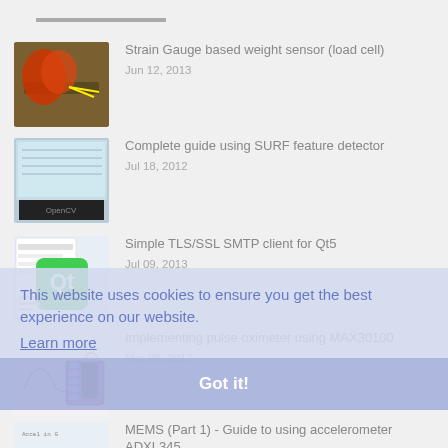Strain Gauge based weight sensor (load cell)
Jun 12, 2013
Complete guide using SURF feature detector
Jul 18, 2012
Simple TLS/SSL SMTP client for Qt5
Jul 09, 2013
Implementing pulse oximeter using MAX30100
Mar 08, 2017
MEMS (Part 1) - Guide to using accelerometer ADXL345
Jun 01, 2014
This website uses cookies to ensure you get the best experience on our website.
Learn more
Got it!